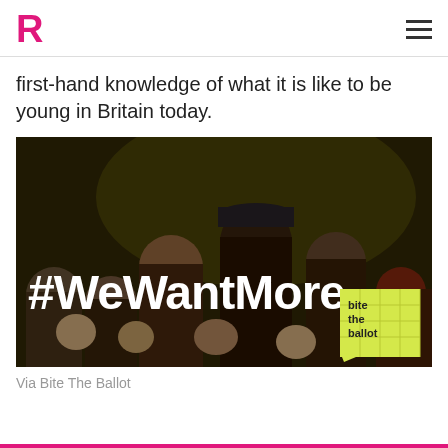R [logo] [hamburger menu]
first-hand knowledge of what it is like to be young in Britain today.
[Figure (photo): Group of young people standing together in a dimly lit venue. Large white bold text overlay reads '#WeWantMore'. In the bottom-right corner is a yellow-green 'bite the ballot' logo box.]
Via Bite The Ballot